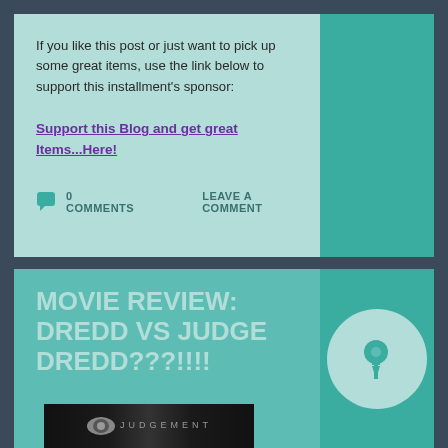If you like this post or just want to pick up some great items, use the link below to support this installment's sponsor:
Support this Blog and get great Items...Here!
0 COMMENTS    LEAVE A COMMENT
MOVIE REVIEW: DREDD vs JUDGE DREDD???!!!!
[Figure (illustration): Pin/thumbtack icon in a light teal circle on a dark teal background]
[Figure (photo): Dark movie image with 'JUDGEMENT' text, partially visible at bottom of page]